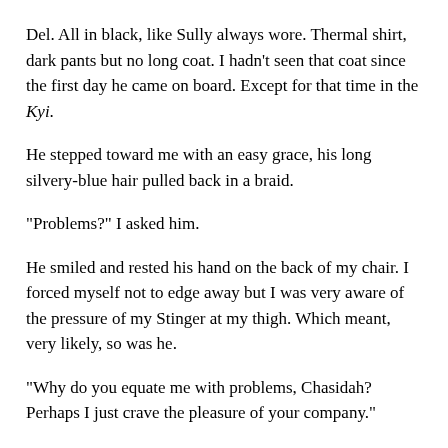Del. All in black, like Sully always wore. Thermal shirt, dark pants but no long coat. I hadn't seen that coat since the first day he came on board. Except for that time in the Kyi.
He stepped toward me with an easy grace, his long silvery-blue hair pulled back in a braid.
"Problems?" I asked him.
He smiled and rested his hand on the back of my chair. I forced myself not to edge away but I was very aware of the pressure of my Stinger at my thigh. Which meant, very likely, so was he.
"Why do you equate me with problems, Chasidah? Perhaps I just crave the pleasure of your company."
"Where's Sully?"
"Ah, Gabriel is an excellent student. I could boast and say I'm an excellent guri, but the truth is, he is responsible for his